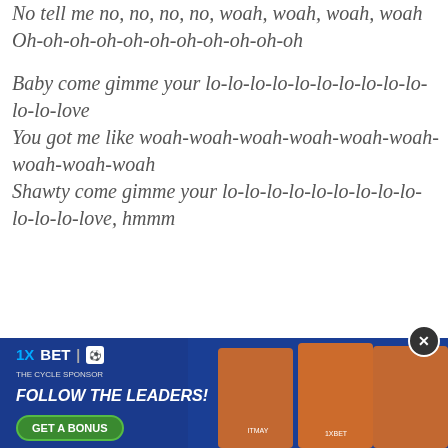No tell me no, no, no, no, woah, woah, woah, woah
Oh-oh-oh-oh-oh-oh-oh-oh-oh-oh-oh
Baby come gimme your lo-lo-lo-lo-lo-lo-lo-lo-lo-lo-lo-lo-love
You got me like woah-woah-woah-woah-woah-woah-woah-woah-woah
Shawty come gimme your lo-lo-lo-lo-lo-lo-lo-lo-lo-lo-lo-lo-love, hmmm
Listen and share your thought below:
[Figure (screenshot): Audio player showing 0:00 / 3:39 with play button, progress bar, volume icon, and more options icon]
[Figure (infographic): 1XBET advertisement banner with 'FOLLOW THE LEADERS!' text, GET A BONUS button, and three football players in orange jerseys]